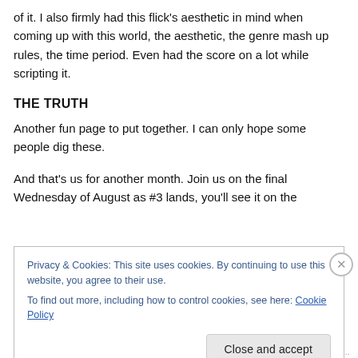of it. I also firmly had this flick's aesthetic in mind when coming up with this world, the aesthetic, the genre mash up rules, the time period. Even had the score on a lot while scripting it.
THE TRUTH
Another fun page to put together. I can only hope some people dig these.
And that's us for another month. Join us on the final Wednesday of August as #3 lands, you'll see it on the
Privacy & Cookies: This site uses cookies. By continuing to use this website, you agree to their use.
To find out more, including how to control cookies, see here: Cookie Policy
REDIRECTING...